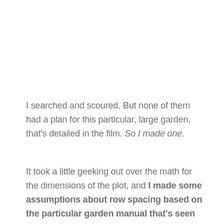I searched and scoured. But none of them had a plan for this particular, large garden, that's detailed in the film. So I made one.
It took a little geeking out over the math for the dimensions of the plot, and I made some assumptions about row spacing based on the particular garden manual that's seen being used by the family in the film.